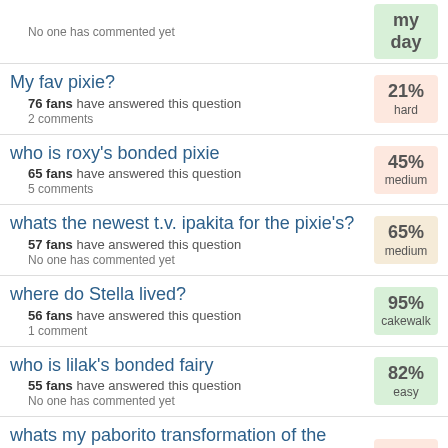No one has commented yet
My fav pixie? — 76 fans have answered this question — 2 comments — 21% hard
who is roxy's bonded pixie — 65 fans have answered this question — 5 comments — 45% medium
whats the newest t.v. ipakita for the pixie's? — 57 fans have answered this question — No one has commented yet — 65% medium
where do Stella lived? — 56 fans have answered this question — 1 comment — 95% cakewalk
who is lilak's bonded fairy — 55 fans have answered this question — No one has commented yet — 82% easy
whats my paborito transformation of the winx club? — 53 fans have answered this question — No one has commented yet — 8% expert
finish this line and who sinabi it " well there